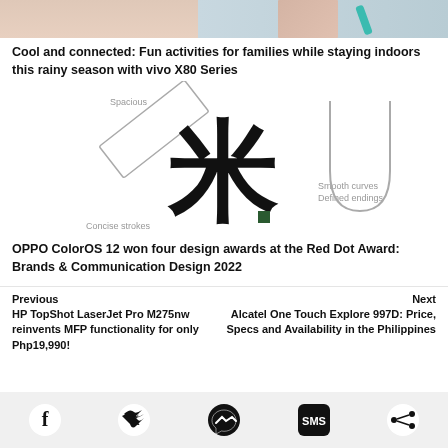[Figure (photo): Top portion of an image showing a person's hand holding a stylus or pen, cropped at the top of the page]
Cool and connected: Fun activities for families while staying indoors this rainy season with vivo X80 Series
[Figure (illustration): OPPO ColorOS 12 design language illustration showing: 'Spacious' label with a tilted rectangle stroke, a large Chinese character '米' in bold black, and a U-shaped curve with 'Smooth curves Defined endings' label, plus 'Concise strokes' label at bottom left]
OPPO ColorOS 12 won four design awards at the Red Dot Award: Brands & Communication Design 2022
Previous
Next
HP TopShot LaserJet Pro M275nw reinvents MFP functionality for only Php19,990!
Alcatel One Touch Explore 997D: Price, Specs and Availability in the Philippines
[Figure (infographic): Footer social sharing bar with Facebook, Twitter, Messenger, SMS, and Share icons on a light gray background]